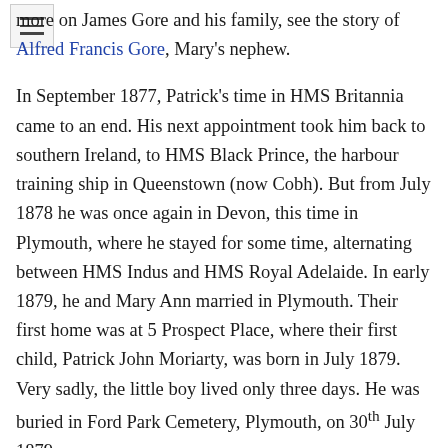more on James Gore and his family, see the story of Alfred Francis Gore, Mary's nephew.
In September 1877, Patrick's time in HMS Britannia came to an end. His next appointment took him back to southern Ireland, to HMS Black Prince, the harbour training ship in Queenstown (now Cobh). But from July 1878 he was once again in Devon, this time in Plymouth, where he stayed for some time, alternating between HMS Indus and HMS Royal Adelaide. In early 1879, he and Mary Ann married in Plymouth. Their first home was at 5 Prospect Place, where their first child, Patrick John Moriarty, was born in July 1879. Very sadly, the little boy lived only three days. He was buried in Ford Park Cemetery, Plymouth, on 30th July 1879.
Patrick and Mary Ann's second child, Lily, was born on 20th November 1880, also at 5 Prospect Place. By the time she was born, Patrick had been sent to HMS Penelope, the guard ship at Harwich, where he remained until April 1881.